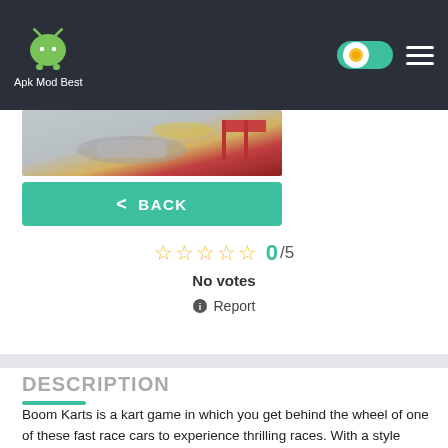Apk Mod Best
[Figure (screenshot): Partial screenshot of a racing game showing cars on a track with flags]
< BACK
0/5
No votes
Report
DESCRIPTION
Boom Karts is a kart game in which you get behind the wheel of one of these fast race cars to experience thrilling races. With a style similar to Mario Kart, you can use numerous elements to disrupt your opponents in each of the races. By doing this, it will be a little bit easier to end up in one of the top places at the finish line.